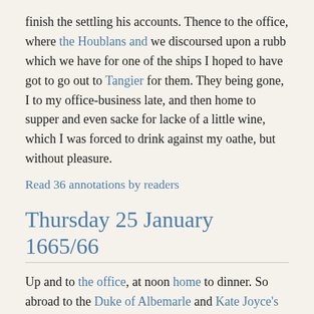finish the settling his accounts. Thence to the office, where the Houblans and we discoursed upon a rubb which we have for one of the ships I hoped to have got to go out to Tangier for them. They being gone, I to my office-business late, and then home to supper and even sacke for lacke of a little wine, which I was forced to drink against my oathe, but without pleasure.
Read 36 annotations by readers
Thursday 25 January 1665/66
Up and to the office, at noon home to dinner. So abroad to the Duke of Albemarle and Kate Joyce's and her husband, with whom I talked a great deale about Pall's business, and told them what portion I would give her, and they do mightily like of it and will proceed further in speaking